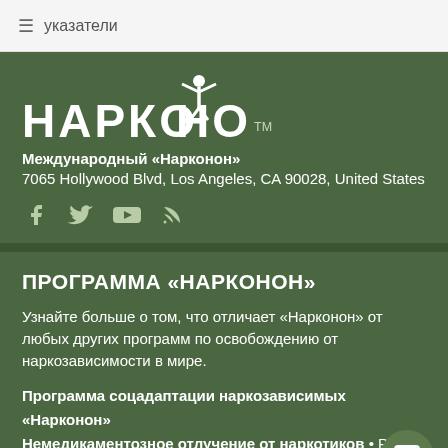≡ указатели
НАРКОНОН™
Международный «Нарконон»
7065 Hollywood Blvd, Los Angeles, CA 90028, United States
[Figure (illustration): Social media icons: Facebook, Twitter, YouTube, RSS feed]
ПРОГРАММА «НАРКОНОН»
Узнайте больше о том, что отличает «Нарконон» от любых других программ по освобождению от наркозависимости в мире.
Программа соцадаптации наркозависимых «Нарконон» Немедикаментозное отлучение от наркотиков • Разде жизнь» • Жизненные навыки • Успехи от применения